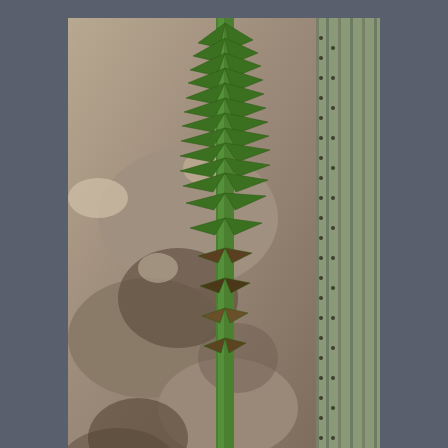[Figure (photo): Close-up photograph of a puya plant with green spiky leaves growing vertically, set against rocky earthy terrain with a cactus visible on the right side.]
The puya on Thursday
This afternoon we are working, the